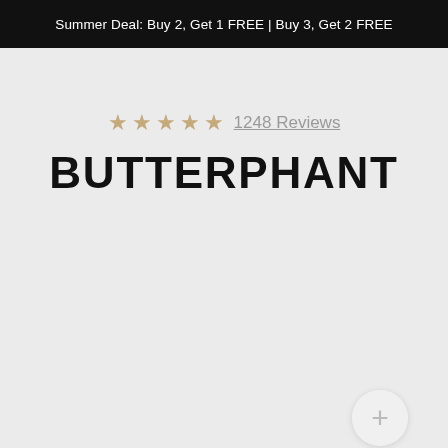Summer Deal: Buy 2, Get 1 FREE | Buy 3, Get 2 FREE
★★★★★ 1248 Reviews
BUTTERPHANT
[Figure (other): A circular plus (+) button, light gray, positioned in the lower right area of the page]